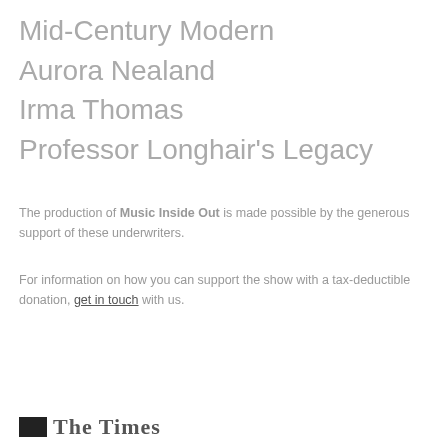Mid-Century Modern
Aurora Nealand
Irma Thomas
Professor Longhair's Legacy
The production of Music Inside Out is made possible by the generous support of these underwriters.
For information on how you can support the show with a tax-deductible donation, get in touch with us.
[Figure (logo): Logo with dark rectangle and stylized text]